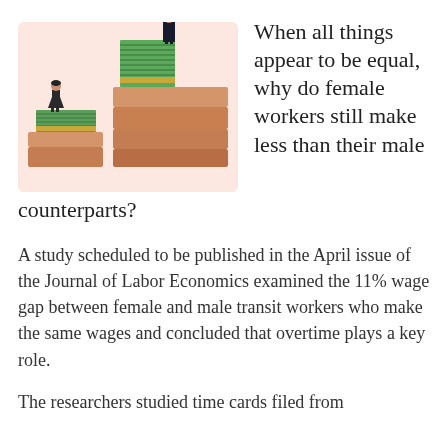[Figure (illustration): Illustration showing a man standing on a tall stack of money/bills and a woman standing on a shorter stack of money/bills, with staircase-like platforms in salmon/peach color, representing the gender wage gap.]
When all things appear to be equal, why do female workers still make less than their male counterparts?
A study scheduled to be published in the April issue of the Journal of Labor Economics examined the 11% wage gap between female and male transit workers who make the same wages and concluded that overtime plays a key role.
The researchers studied time cards filed from